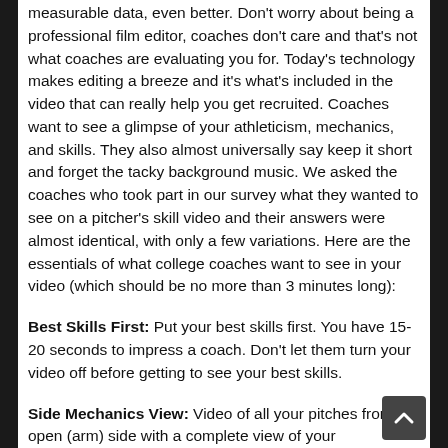measurable data, even better. Don't worry about being a professional film editor, coaches don't care and that's not what coaches are evaluating you for. Today's technology makes editing a breeze and it's what's included in the video that can really help you get recruited. Coaches want to see a glimpse of your athleticism, mechanics, and skills. They also almost universally say keep it short and forget the tacky background music. We asked the coaches who took part in our survey what they wanted to see on a pitcher's skill video and their answers were almost identical, with only a few variations. Here are the essentials of what college coaches want to see in your video (which should be no more than 3 minutes long):
Best Skills First: Put your best skills first. You have 15-20 seconds to impress a coach. Don't let them turn your video off before getting to see your best skills.
Side Mechanics View: Video of all your pitches from the open (arm) side with a complete view of your